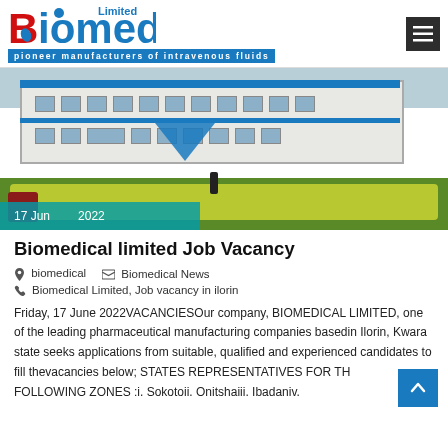Biomedical Limited — pioneer manufacturers of intravenous fluids
[Figure (photo): Exterior photo of Biomedical Limited factory building with blue accents and yellow flowering hedges. Date overlay shows 17 Jun 2022.]
Biomedical limited Job Vacancy
biomedical   Biomedical News
Biomedical Limited, Job vacancy in ilorin
Friday, 17 June 2022VACANCIESOur company, BIOMEDICAL LIMITED, one of the leading pharmaceutical manufacturing companies basedin Ilorin, Kwara state seeks applications from suitable, qualified and experienced candidates to fill thevacancies below; STATES REPRESENTATIVES FOR THE FOLLOWING ZONES :i. Sokotoii. Onitshaiii. Ibadaniv.